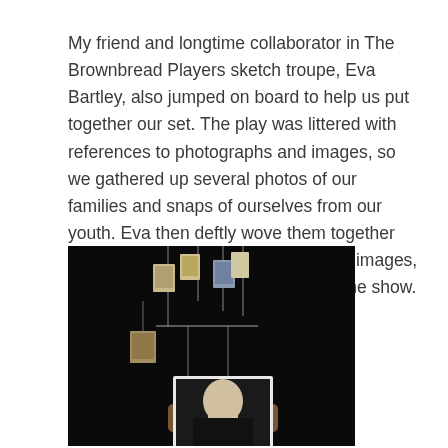My friend and longtime collaborator in The Brownbread Players sketch troupe, Eva Bartley, also jumped on board to help us put together our set. The play was littered with references to photographs and images, so we gathered up several photos of our families and snaps of ourselves from our youth. Eva then deftly wove them together into these simple hanging mobiles of images, that ended up becoming integral to the show.
[Figure (photo): A dark photograph showing hanging photo mobiles suspended from above in a black background, with a person's hand holding a black-and-white photograph in the foreground.]